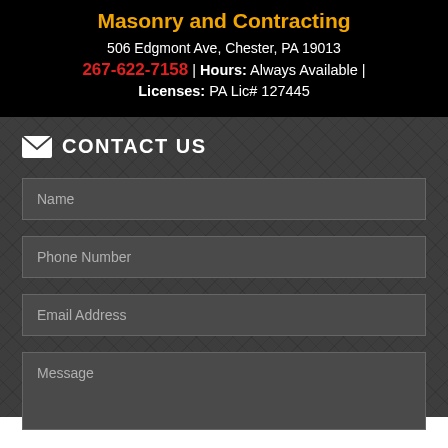Masonry and Contracting
506 Edgmont Ave, Chester, PA 19013
267-622-7158 | Hours: Always Available |
Licenses: PA Lic# 127445
CONTACT US
Name
Phone Number
Email Address
Message